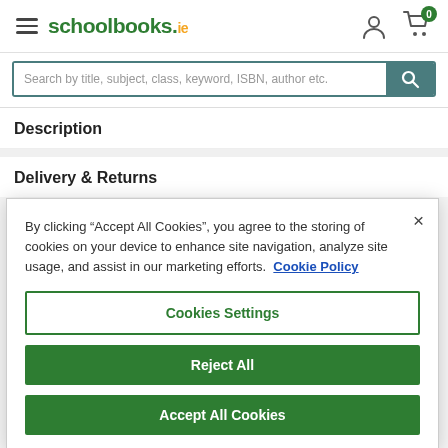schoolbooks.ie
[Figure (screenshot): Search bar with placeholder text: Search by title, subject, class, keyword, ISBN, author etc. and a teal search button with magnifying glass icon]
Description
Delivery & Returns
By clicking “Accept All Cookies”, you agree to the storing of cookies on your device to enhance site navigation, analyze site usage, and assist in our marketing efforts. Cookie Policy
Cookies Settings
Reject All
Accept All Cookies